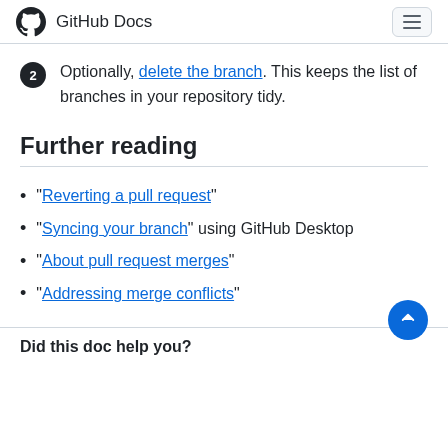GitHub Docs
Optionally, delete the branch. This keeps the list of branches in your repository tidy.
Further reading
"Reverting a pull request"
"Syncing your branch" using GitHub Desktop
"About pull request merges"
"Addressing merge conflicts"
Did this doc help you?